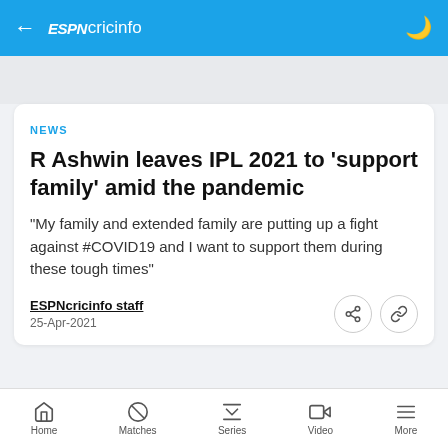ESPNcricinfo
NEWS
R Ashwin leaves IPL 2021 to 'support family' amid the pandemic
"My family and extended family are putting up a fight against #COVID19 and I want to support them during these tough times"
ESPNcricinfo staff
25-Apr-2021
Home  Matches  Series  Video  More